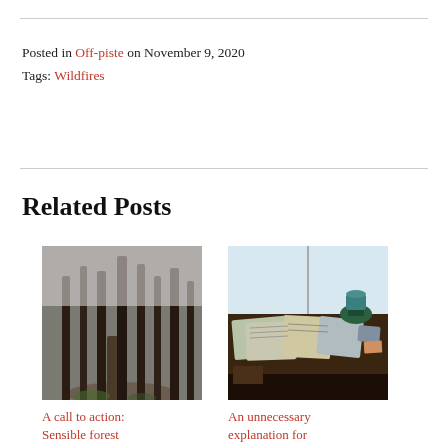Posted in Off-piste on November 9, 2020
Tags: Wildfires
Related Posts
[Figure (photo): Photo of burned forest with charred tree trunks on a misty path]
A call to action: Sensible forest
[Figure (photo): Photo of a desk with open notebooks, a plant, and various objects near a window]
An unnecessary explanation for